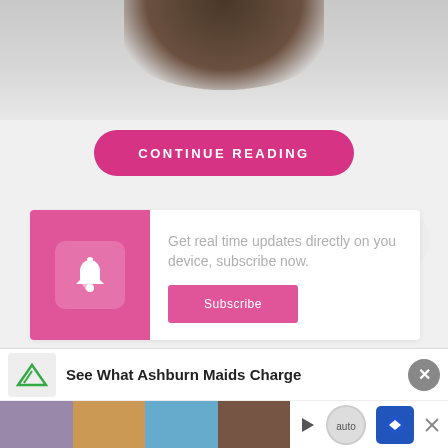[Figure (photo): Partial view of a person's head/hair at the top of the page, blurred/cropped]
CONTINUE READING
Get real time updates directly on you device, subscribe now.
Subscribe
Renier  -  132 Posts  -  0 Comments
[Figure (screenshot): Advertisement banner: See What Ashburn Maids Charge, with navigation and ad thumbnails]